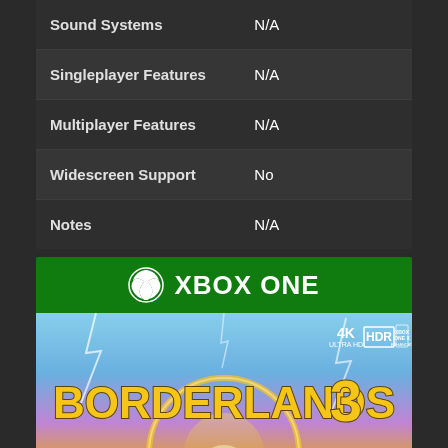| Feature | Value |
| --- | --- |
| Sound Systems | N/A |
| Singleplayer Features | N/A |
| Multiplayer Features | N/A |
| Widescreen Support | No |
| Notes | N/A |
[Figure (illustration): Xbox One game box art for Borderlands 3, showing the Xbox One green header with Xbox logo and title, and below it the game cover art featuring the Borderlands 3 title in large yellow letters with a masked character, blue sky with lightning, and 4K Ultra HD / HDR / Xbox One X Enhanced badges]